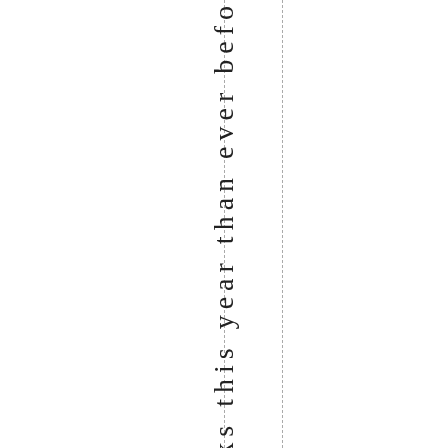more books this year than ever befo